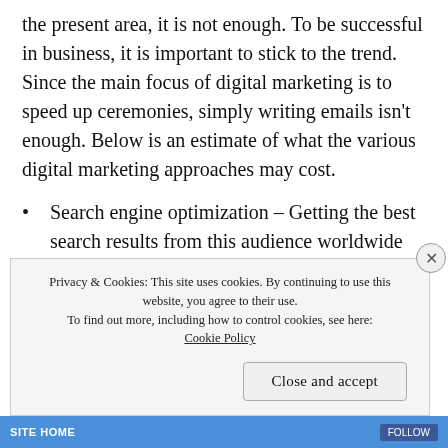the present area, it is not enough. To be successful in business, it is important to stick to the trend. Since the main focus of digital marketing is to speed up ceremonies, simply writing emails isn't enough. Below is an estimate of what the various digital marketing approaches may cost.
Search engine optimization – Getting the best search results from this audience worldwide can make a huge difference to your business. So how
Privacy & Cookies: This site uses cookies. By continuing to use this website, you agree to their use. To find out more, including how to control cookies, see here: Cookie Policy